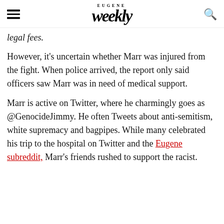EUGENE Weekly
legal fees.
However, it's uncertain whether Marr was injured from the fight. When police arrived, the report only said officers saw Marr was in need of medical support.
Marr is active on Twitter, where he charmingly goes as @GenocideJimmy. He often Tweets about anti-semitism, white supremacy and bagpipes. While many celebrated his trip to the hospital on Twitter and the Eugene subreddit, Marr's friends rushed to support the racist.